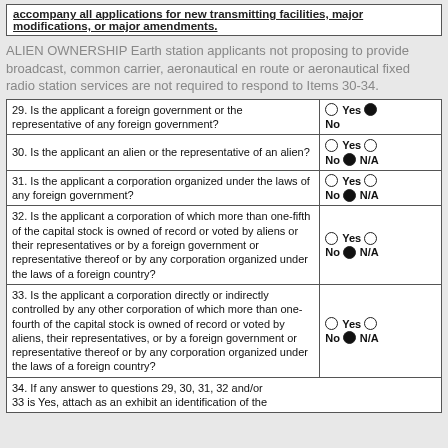accompany all applications for new transmitting facilities, major modifications, or major amendments.
ALIEN OWNERSHIP Earth station applicants not proposing to provide broadcast, common carrier, aeronautical en route or aeronautical fixed radio station services are not required to respond to Items 30-34.
| Question | Answer |
| --- | --- |
| 29. Is the applicant a foreign government or the representative of any foreign government? | O Yes ● No |
| 30. Is the applicant an alien or the representative of an alien? | O Yes O No ● N/A |
| 31. Is the applicant a corporation organized under the laws of any foreign government? | O Yes O No ● N/A |
| 32. Is the applicant a corporation of which more than one-fifth of the capital stock is owned of record or voted by aliens or their representatives or by a foreign government or representative thereof or by any corporation organized under the laws of a foreign country? | O Yes O No ● N/A |
| 33. Is the applicant a corporation directly or indirectly controlled by any other corporation of which more than one-fourth of the capital stock is owned of record or voted by aliens, their representatives, or by a foreign government or representative thereof or by any corporation organized under the laws of a foreign country? | O Yes O No ● N/A |
| 34. If any answer to questions 29, 30, 31, 32 and/or 33 is Yes, attach as an exhibit an identification of the |  |